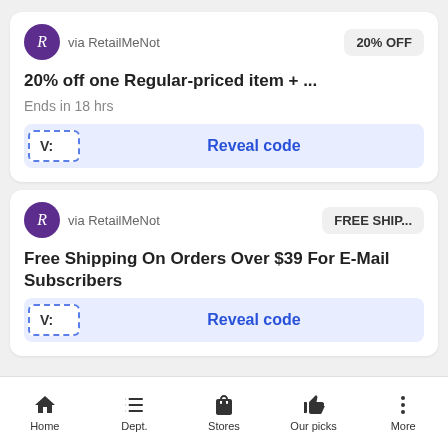[Figure (screenshot): RetailMeNot coupon card 1: 20% OFF badge, logo, '20% off one Regular-priced item + ...' with 'Ends in 18 hrs' and Reveal code button]
[Figure (screenshot): RetailMeNot coupon card 2: FREE SHIP... badge, logo, 'Free Shipping On Orders Over $39 For E-Mail Subscribers' and Reveal code button]
Home  Dept.  Stores  Our picks  More